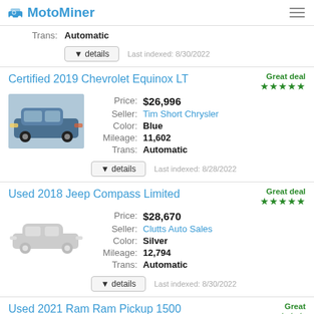MotoMiner
Trans: Automatic
details  Last indexed: 8/30/2022
Certified 2019 Chevrolet Equinox LT
Great deal ★★★★★
Price: $26,996
Seller: Tim Short Chrysler
Color: Blue
Mileage: 11,602
Trans: Automatic
details  Last indexed: 8/28/2022
Used 2018 Jeep Compass Limited
Great deal ★★★★★
Price: $28,670
Seller: Clutts Auto Sales
Color: Silver
Mileage: 12,794
Trans: Automatic
details  Last indexed: 8/30/2022
Used 2021 Ram Ram Pickup 1500 Limited Longhorn
Great deal ★★★